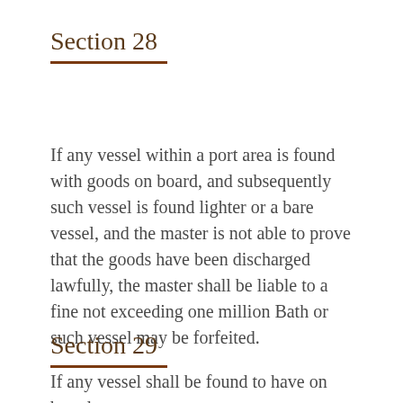Section 28
If any vessel within a port area is found with goods on board, and subsequently such vessel is found lighter or a bare vessel, and the master is not able to prove that the goods have been discharged lawfully, the master shall be liable to a fine not exceeding one million Bath or such vessel may be forfeited.
Section 29
If any vessel shall be found to have on board any secret or